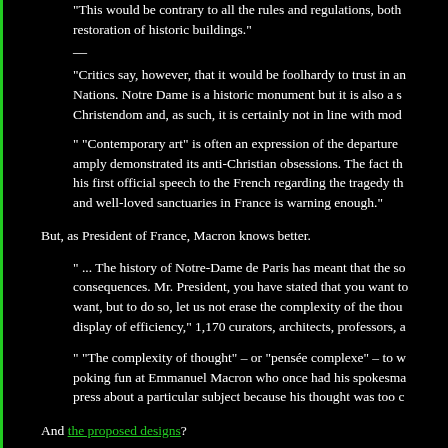"This would be contrary to all the rules and regulations, both restoration of historic buildings."
—
"Critics say, however, that it would be foolhardy to trust in an Nations. Notre Dame is a historic monument but it is also a s Christendom and, as such, it is certainly not in line with mod
" "Contemporary art" is often an expression of the departure amply demonstrated its anti-Christian obsessions. The fact th his first official speech to the French regarding the tragedy th and well-loved sanctuaries in France is warning enough."
But, as President of France, Macron knows better.
" ... The history of Notre-Dame de Paris has meant that the so consequences. Mr. President, you have stated that you want to want, but to do so, let us not erase the complexity of the thou display of efficiency," 1,170 curators, architects, professors, a
" "The complexity of thought" – or "pensée complexe" – to w poking fun at Emmanuel Macron who once had his spokesma press about a particular subject because his thought was too c
And the proposed designs?
"Studio NAB suggested a glass roof and spire that would allo